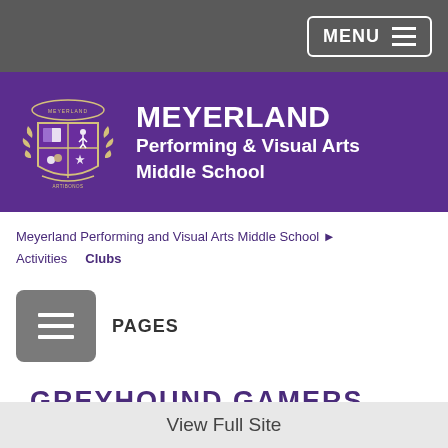MENU
[Figure (logo): Meyerland Performing & Visual Arts Middle School logo with purple shield crest and school name]
Meyerland Performing and Visual Arts Middle School ▶ Activities   Clubs
PAGES
GREYHOUND GAMERS
View Full Site